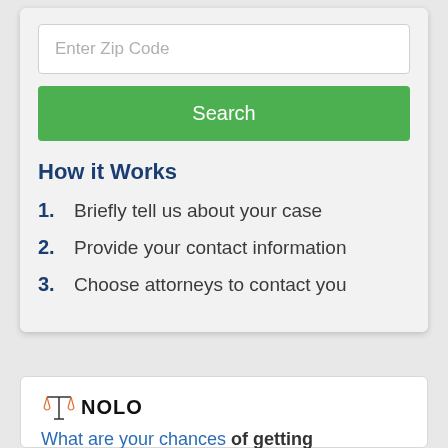Enter Zip Code
Search
How it Works
1. Briefly tell us about your case
2. Provide your contact information
3. Choose attorneys to contact you
[Figure (logo): NOLO logo with orange balance/scales icon]
What are your chances of getting